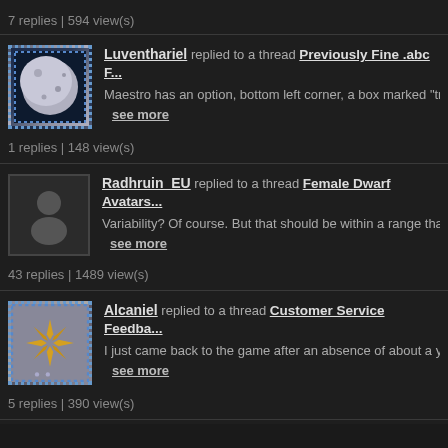7 replies | 594 view(s)
Luventhariel replied to a thread Previously Fine .abc F... Maestro has an option, bottom left corner, a box marked "tripl...
see more
1 replies | 148 view(s)
Radhruin_EU replied to a thread Female Dwarf Avatars... Variability? Of course. But that should be within a range that m...
see more
43 replies | 1489 view(s)
Alcaniel replied to a thread Customer Service Feedba... I just came back to the game after an absence of about a yea...
see more
5 replies | 390 view(s)